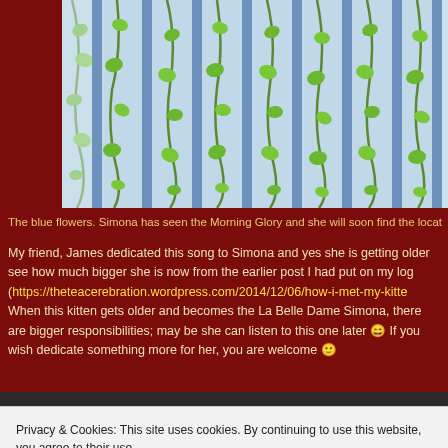[Figure (photo): Photo of a plant with green heart-shaped leaves growing on vertical blue/grey bars or blinds, partial view cropped at top]
The blue flowers. Simona has seen the Morning Glory and she will soon find the locat
My friend, James dedicated this song to Simona and yes she is getting older see how much bigger she is now from the earlier post I had put on my log (https://theteacerebration.wordpress.com/2014/12/06/how-i-met-my-kitte When this kitten gets older and becomes the La Belle Dame Simona, there are bigger responsibilities; may be she can listen to this one later 😀 If you wish dedicate something more for her, you are welcome 🙂
Privacy & Cookies: This site uses cookies. By continuing to use this website, you agree to their use.
To find out more, including how to control cookies, see here: Cookie Policy
Close and accept
the YouTube account associated with th